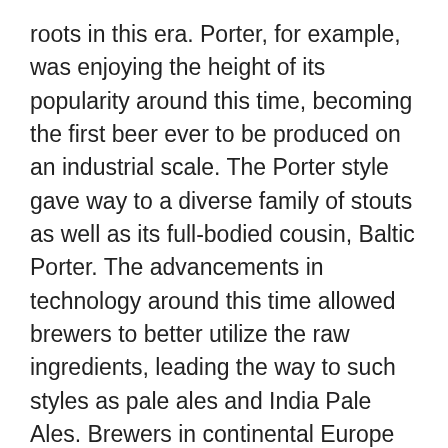roots in this era. Porter, for example, was enjoying the height of its popularity around this time, becoming the first beer ever to be produced on an industrial scale. The Porter style gave way to a diverse family of stouts as well as its full-bodied cousin, Baltic Porter. The advancements in technology around this time allowed brewers to better utilize the raw ingredients, leading the way to such styles as pale ales and India Pale Ales. Brewers in continental Europe also took advantage of the advancements, bringing us Pilsners, Helles' and a wide variety of pale lagers. Journeying across the Atlantic, brewers in the new world did what they do best, taking traditional styles to their limits, giving us a new understanding of what beer can be.